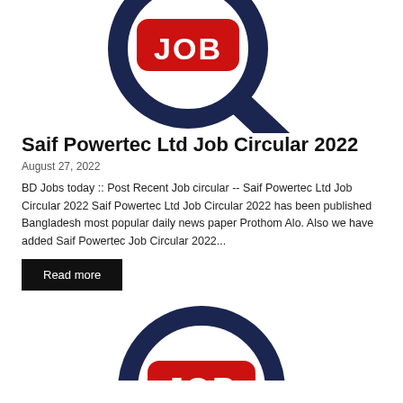[Figure (illustration): A magnifying glass with a red rounded rectangle tag reading 'JOB' in white bold letters, dark navy blue magnifying glass outline on white background. Partial top crop.]
Saif Powertec Ltd Job Circular 2022
August 27, 2022
BD Jobs today :: Post Recent Job circular -- Saif Powertec Ltd Job Circular 2022 Saif Powertec Ltd Job Circular 2022 has been published Bangladesh most popular daily news paper Prothom Alo. Also we have added Saif Powertec Job Circular 2022...
Read more
[Figure (illustration): A magnifying glass with a red rounded rectangle tag reading 'JOB' in white bold letters, dark navy blue magnifying glass outline on white background. Partial bottom crop showing top portion.]